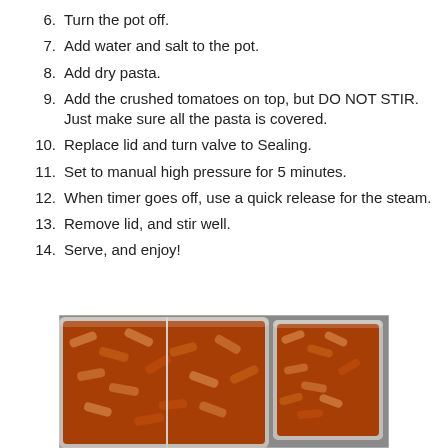6. Turn the pot off.
7. Add water and salt to the pot.
8. Add dry pasta.
9. Add the crushed tomatoes on top, but DO NOT STIR. Just make sure all the pasta is covered.
10. Replace lid and turn valve to Sealing.
11. Set to manual high pressure for 5 minutes.
12. When timer goes off, use a quick release for the steam.
13. Remove lid, and stir well.
14. Serve, and enjoy!
[Figure (photo): Photo of penne pasta with tomato meat sauce served in clear plastic meal prep containers]